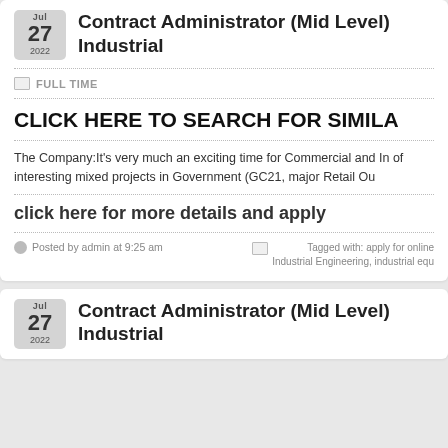Contract Administrator (Mid Level) Industrial
FULL TIME
CLICK HERE TO SEARCH FOR SIMILA
The Company:It's very much an exciting time for Commercial and In of interesting mixed projects in Government (GC21, major Retail Ou
click here for more details and apply
Posted by admin at 9:25 am
Tagged with: apply for online Industrial Engineering, industrial equ
Contract Administrator (Mid Level) Industrial